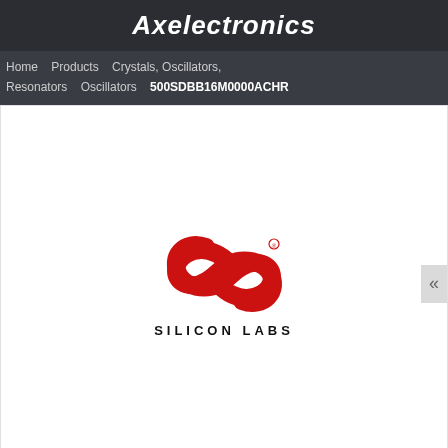Axelectronics
Home   Products   Crystals, Oscillators, Resonators   Oscillators   500SDBB16M0000ACHR
[Figure (logo): Silicon Labs logo: red stylized S shape with swoosh marks, text 'SILICON LABS' in bold black below]